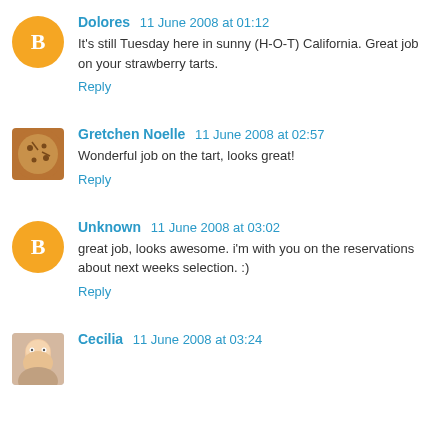Dolores 11 June 2008 at 01:12
It's still Tuesday here in sunny (H-O-T) California. Great job on your strawberry tarts.
Reply
Gretchen Noelle 11 June 2008 at 02:57
Wonderful job on the tart, looks great!
Reply
Unknown 11 June 2008 at 03:02
great job, looks awesome. i'm with you on the reservations about next weeks selection. :)
Reply
Cecilia 11 June 2008 at 03:24